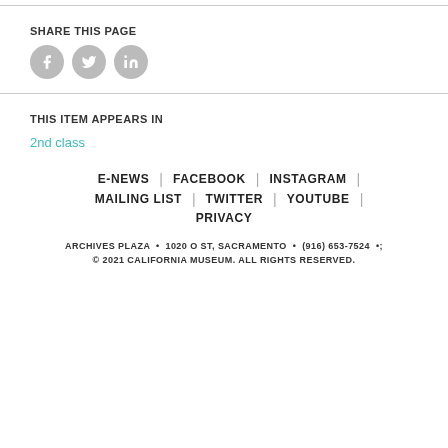SHARE THIS PAGE
[Figure (illustration): Three circular social media share buttons: Facebook (f), Twitter (bird), LinkedIn (in)]
THIS ITEM APPEARS IN
2nd class
E-NEWS | FACEBOOK | INSTAGRAM | MAILING LIST | TWITTER | YOUTUBE | PRIVACY
ARCHIVES PLAZA • 1020 O ST, SACRAMENTO • (916) 653-7524 • © 2021 CALIFORNIA MUSEUM. ALL RIGHTS RESERVED.